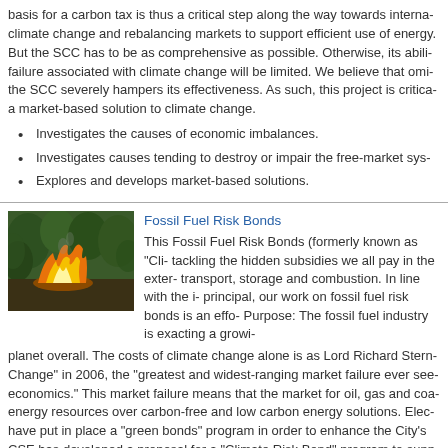basis for a carbon tax is thus a critical step along the way towards interna... climate change and rebalancing markets to support efficient use of energy... But the SCC has to be as comprehensive as possible. Otherwise, its abili... failure associated with climate change will be limited. We believe that omi... the SCC severely hampers its effectiveness. As such, this project is critica... a market-based solution to climate change.
Investigates the causes of economic imbalances.
Investigates causes tending to destroy or impair the free-market sys...
Explores and develops market-based solutions.
Fossil Fuel Risk Bonds
[Figure (photo): Photograph showing a fire burning in a natural/forested area with green trees and flames visible]
This Fossil Fuel Risk Bonds (formerly known as "Cli... tackling the hidden subsidies we all pay in the exter... transport, storage and combustion. In line with the i... principal, our work on fossil fuel risk bonds is an eff... Purpose: The fossil fuel industry is exacting a growi... planet overall. The costs of climate change alone is as Lord Richard Stern... Change" in 2006, the "greatest and widest-ranging market failure ever see... economics." This market failure means that the market for oil, gas and coa... energy resources over carbon-free and low carbon energy solutions. Elec... have put in place a "green bonds" program in order to enhance the City's... CSE has developed a proposal for a "Climate Risk Bond" program to supp... economic disincentive for the fossil fuel industry to expand their export ac...